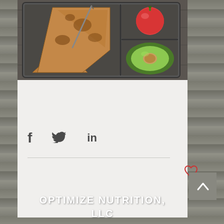[Figure (photo): A metal bento/lunchbox container on a dark wood surface, containing slices of quesadilla or flatbread on the left side, and on the right side a red tomato/apple on top and a halved avocado on the bottom.]
[Figure (infographic): Social sharing icons: Facebook (f), Twitter (bird), LinkedIn (in) displayed in a light gray panel.]
♡
OPTIMIZE NUTRITION, LLC